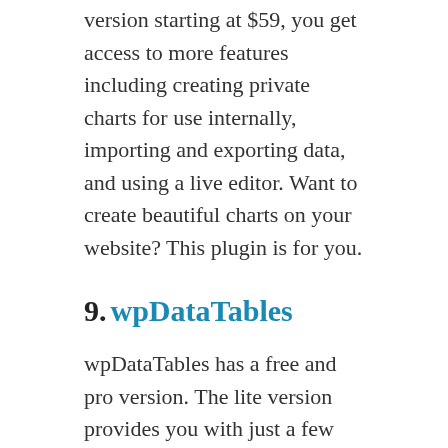version starting at $59, you get access to more features including creating private charts for use internally, importing and exporting data, and using a live editor. Want to create beautiful charts on your website? This plugin is for you.
9. wpDataTables
wpDataTables has a free and pro version. The lite version provides you with just a few features. You can get this version if you don't need advanced features or only make simple tables on occasions. Also, you can import Excel, CSV, and JSON files to your tables. After importing, you don't need to make too many changes to your tables. The data is imported in a very decent way. In the paid version which costs $55 on CodeCanyon, the plugin